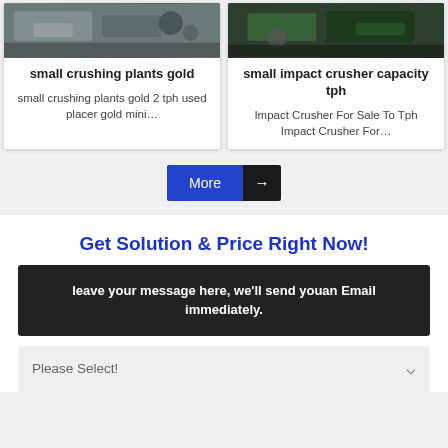[Figure (photo): Photo of a small crushing plant for gold mining equipment]
small crushing plants gold
small crushing plants gold 2 tph used placer gold mini…
[Figure (photo): Photo of a small impact crusher]
small impact crusher capacity tph
Impact Crusher For Sale To Tph Impact Crusher For…
More →
Get Solution & Price Right Now!
leave your message here, we'll send youan Email immediately.
Please Select!